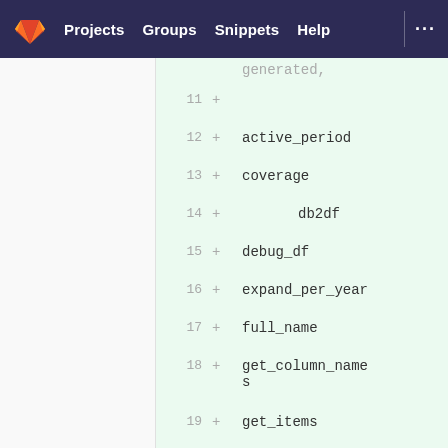GitLab — Projects  Groups  Snippets  Help
[Figure (screenshot): GitLab diff view showing added lines 11-20 with code identifiers: active_period, coverage, db2df, debug_df, expand_per_year, full_name, get_column_names, get_items, get_items_per_year]